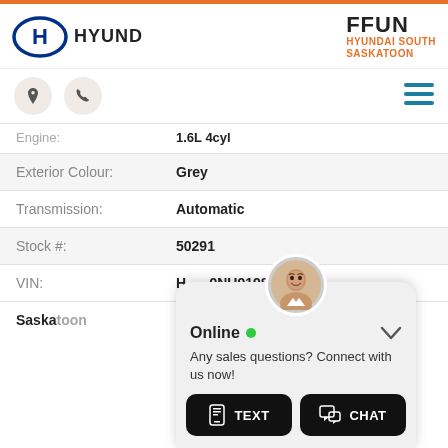[Figure (logo): Hyundai logo and FFUN Hyundai South Saskatoon dealer logo in header]
[Figure (infographic): Navigation icons: location pin, phone, and hamburger menu]
| Engine: | 1.6L 4cyl |
| Exterior Colour: | Grey |
| Transmission: | Automatic |
| Stock #: | 50291 |
| VIN: | H...9NU919839 |
Saska...
[Figure (screenshot): Online chat widget overlay with agent photo, Online status indicator, message 'Any sales questions? Connect with us now!', TEXT and CHAT buttons]